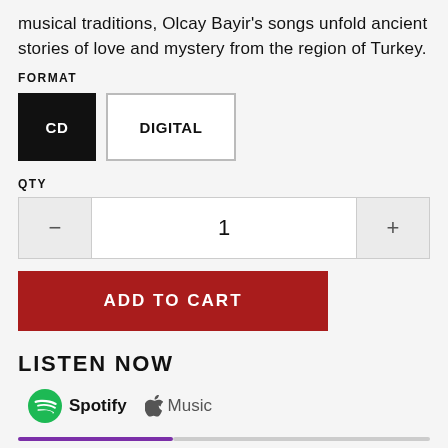musical traditions, Olcay Bayir's songs unfold ancient stories of love and mystery from the region of Turkey.
FORMAT
CD | DIGITAL (format selector buttons)
QTY
1 (quantity selector with minus and plus buttons)
ADD TO CART
LISTEN NOW
Spotify   Music (streaming service links)
[Figure (other): Purple and grey progress bar]